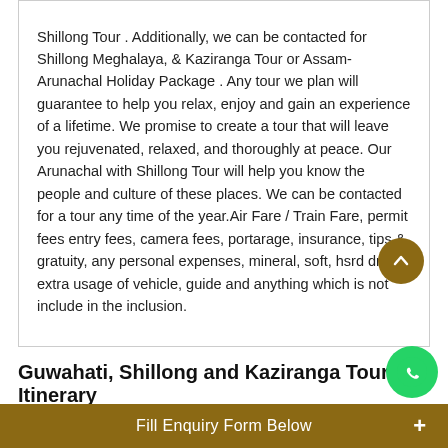Shillong Tour . Additionally, we can be contacted for Shillong Meghalaya, & Kaziranga Tour or Assam-Arunachal Holiday Package . Any tour we plan will guarantee to help you relax, enjoy and gain an experience of a lifetime. We promise to create a tour that will leave you rejuvenated, relaxed, and thoroughly at peace. Our Arunachal with Shillong Tour will help you know the people and culture of these places. We can be contacted for a tour any time of the year.Air Fare / Train Fare, permit fees entry fees, camera fees, portarage, insurance, tips & gratuity, any personal expenses, mineral, soft, hsrd drink, extra usage of vehicle, guide and anything which is not include in the inclusion.
Guwahati, Shillong and Kaziranga Tour Itinerary
Day 1: Start for Shillong from Guwahati
On arrival at Guwahati Airport/ Railway station transfer to Shillong also known as 'The Scotland of the East'. Check-in your hotel. Rest of the day free. Overnight stay in Shillong
Fill Enquiry Form Below +